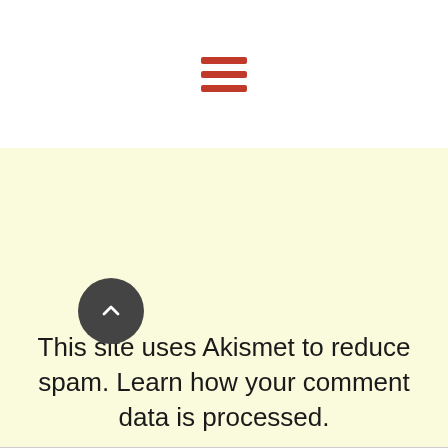[Figure (other): Hamburger menu icon with three horizontal red bars centered in white header]
This site uses Akismet to reduce spam. Learn how your comment data is processed.